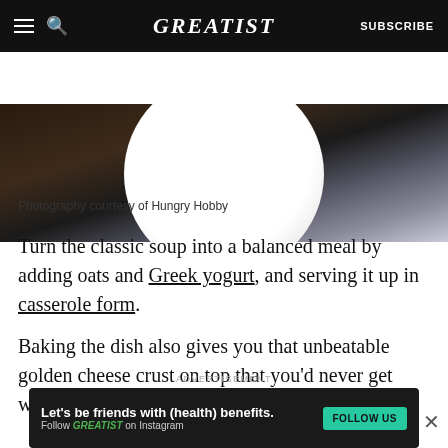GREATIST | SUBSCRIBE
[Figure (photo): Partial view of a white plate on a dark wooden surface, hero image for article]
Photography courtesy of Hungry Hobby
Turn the classic soup into a balanced meal by adding oats and Greek yogurt, and serving it up in casserole form.
Baking the dish also gives you that unbeatable golden cheese crust on top that you'd never get with soup.
ADVERTISEMENT
[Figure (infographic): Advertisement banner: Let's be friends with (health) benefits. Follow GREATIST on Instagram. FOLLOW US button.]